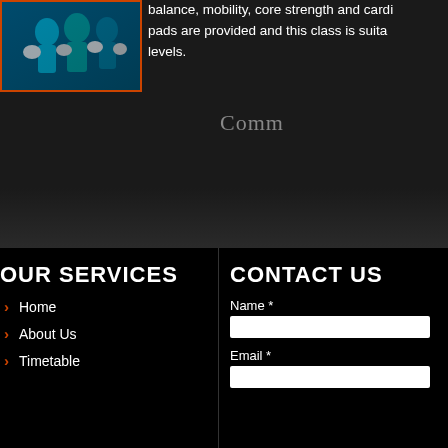[Figure (photo): Photo of people in fitness/boxing class holding equipment, with orange-red border frame]
balance, mobility, core strength and cardio. pads are provided and this class is suitable for all levels.
Comm
OUR SERVICES
Home
About Us
Timetable
CONTACT US
Name *
Email *